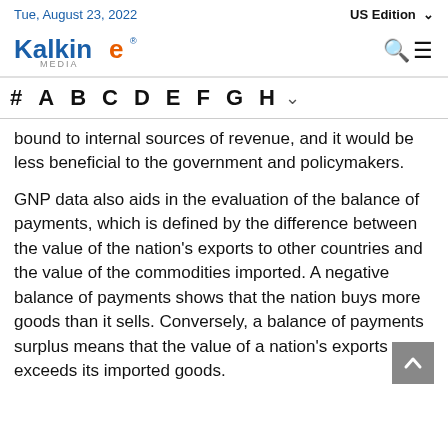Tue, August 23, 2022 | US Edition
[Figure (logo): Kalkine Media logo — blue bold 'Kalkine' with orange stylized 'e' and registered mark, gray 'MEDIA' subtitle]
# A B C D E F G H
bound to internal sources of revenue, and it would be less beneficial to the government and policymakers.
GNP data also aids in the evaluation of the balance of payments, which is defined by the difference between the value of the nation's exports to other countries and the value of the commodities imported. A negative balance of payments shows that the nation buys more goods than it sells. Conversely, a balance of payments surplus means that the value of a nation's exports exceeds its imported goods.